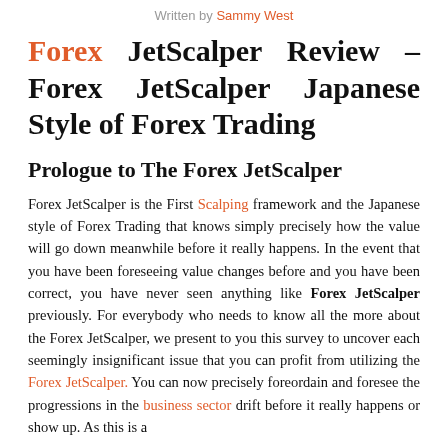Written by Sammy West
Forex JetScalper Review – Forex JetScalper Japanese Style of Forex Trading
Prologue to The Forex JetScalper
Forex JetScalper is the First Scalping framework and the Japanese style of Forex Trading that knows simply precisely how the value will go down meanwhile before it really happens. In the event that you have been foreseeing value changes before and you have been correct, you have never seen anything like Forex JetScalper previously. For everybody who needs to know all the more about the Forex JetScalper, we present to you this survey to uncover each seemingly insignificant issue that you can profit from utilizing the Forex JetScalper. You can now precisely foreordain and foresee the progressions in the business sector drift before it really happens or show up. As this is a